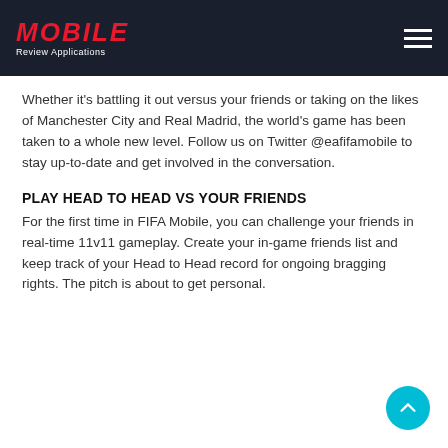MOBILE Review Applications
Whether it's battling it out versus your friends or taking on the likes of Manchester City and Real Madrid, the world's game has been taken to a whole new level. Follow us on Twitter @eafifamobile to stay up-to-date and get involved in the conversation.
PLAY HEAD TO HEAD VS YOUR FRIENDS
For the first time in FIFA Mobile, you can challenge your friends in real-time 11v11 gameplay. Create your in-game friends list and keep track of your Head to Head record for ongoing bragging rights. The pitch is about to get personal.